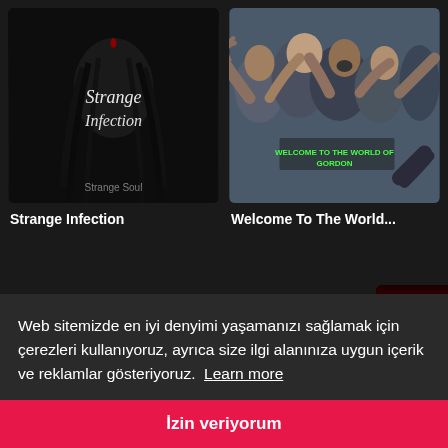[Figure (screenshot): Movie thumbnail for Strange Infection - dark horror image with long-haired figure and cursive text 'Strange Infection' and subtitle 'Strange Soul']
Strange Infection
[Figure (screenshot): Movie thumbnail for Welcome To The World - crowd of zombie-like people reaching forward with green text overlay]
Welcome To The World...
[Figure (screenshot): Partial movie thumbnail visible on right side - red/orange fiery background with partial letter 'AL' visible]
Web sitemizde en iyi denyimi yaşamanızı sağlamak için çerezleri kullanıyoruz, ayrıca size ilgi alanınıza uygun içerik ve reklamlar gösteriyoruz.  Learn more
İzin veriyorum